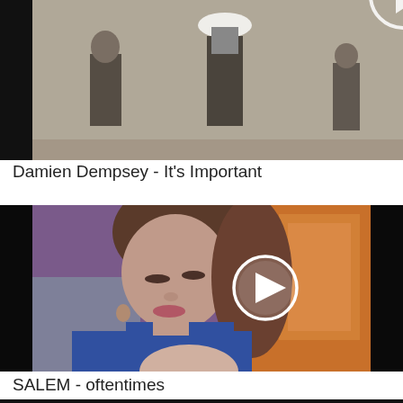[Figure (screenshot): Black and white video thumbnail showing people standing outdoors, with a play button circle overlay partially visible at top. Damien Dempsey music video thumbnail.]
Damien Dempsey - It's Important
[Figure (screenshot): Color video thumbnail showing a woman with brown hair in a blue cardigan looking down, with a white play button circle overlay. Orange and colorful background. SALEM video thumbnail.]
SALEM - oftentimes
[Figure (screenshot): Partial video thumbnail visible at bottom of page, mostly black.]